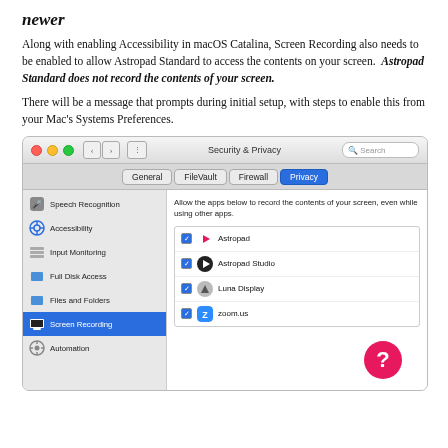newer
Along with enabling Accessibility in macOS Catalina, Screen Recording also needs to be enabled to allow Astropad Standard to access the contents on your screen.  Astropad Standard does not record the contents of your screen.
There will be a message that prompts during initial setup, with steps to enable this from your Mac's Systems Preferences.
[Figure (screenshot): macOS Security & Privacy System Preferences window showing the Privacy tab with Screen Recording selected in the left sidebar, and a list of apps (Astropad, Astropad Studio, Luna Display, zoom.us) with checkboxes enabled on the right.]